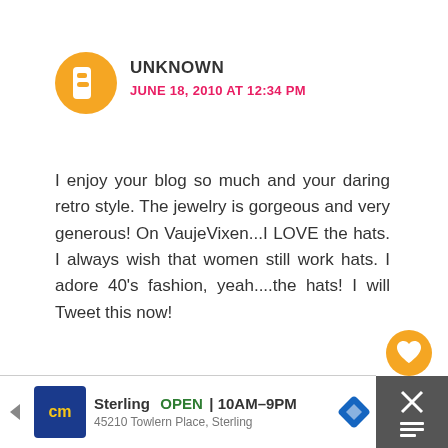UNKNOWN
JUNE 18, 2010 AT 12:34 PM
I enjoy your blog so much and your daring retro style. The jewelry is gorgeous and very generous! On VaujeVixen...I LOVE the hats. I always wish that women still work hats. I adore 40's fashion, yeah....the hats! I will Tweet this now!
REPLY
WHAT'S NEXT → Sponsor Va-Voom Vintage!
BARONESSVONVINTAGE